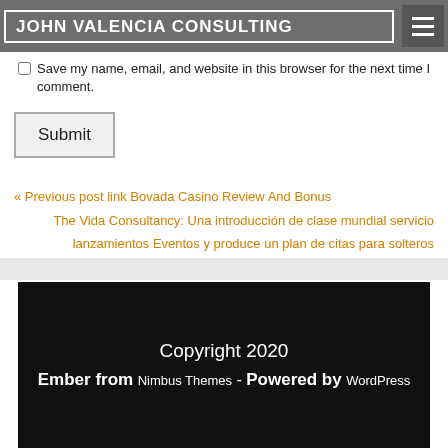JOHN VALENCIA CONSULTING
Save my name, email, and website in this browser for the next time I comment.
Submit
« Previous post link Bovada Casino Review And Bonus
The Vida Consultancy: Una introducción de clase mundial servicio lanzamientos Eventos y produce un plan de citas para solteros envalentonados » Next post link
Copyright 2020 Ember from Nimbus Themes - Powered by WordPress